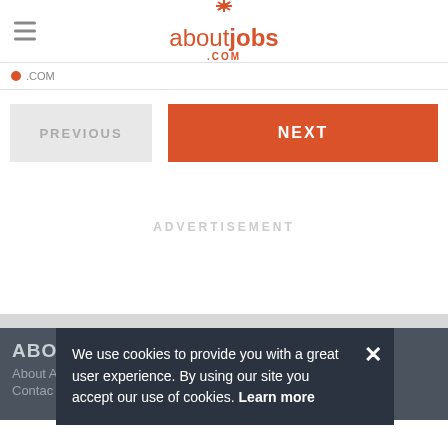[Figure (logo): aboutjobs.com logo with orange asterisk/snowflake icon above the text]
aboutjobs .COM
[Figure (other): Navigation breadcrumb bar with small orange dot and .COM text]
[Figure (other): PREVIOUS button (gray) and NEXT button (orange)]
ADVERTISEMENT
ABOU About A Contac
We use cookies to provide you with a great user experience. By using our site you accept our use of cookies. Learn more